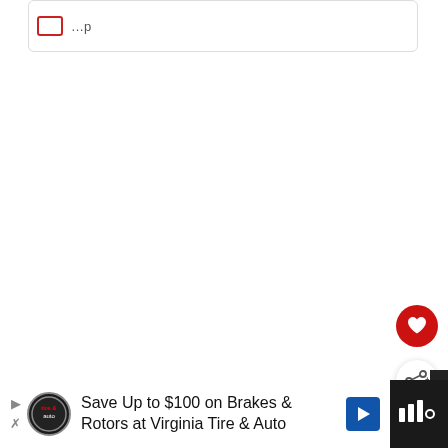[Figure (screenshot): Top portion of a web page showing a rounded-corner box with a red rectangle icon and partial text, a large white content area, a red circular heart/favorite button, a white circular share button, a 'What's Next' recommendation panel showing 'How Long Can Chocolate...' with a thumbnail, and a black advertisement bar at bottom for 'Save Up to $100 on Brakes & Rotors at Virginia Tire & Auto']
WHAT'S NEXT → How Long Can Chocolate...
Save Up to $100 on Brakes & Rotors at Virginia Tire & Auto